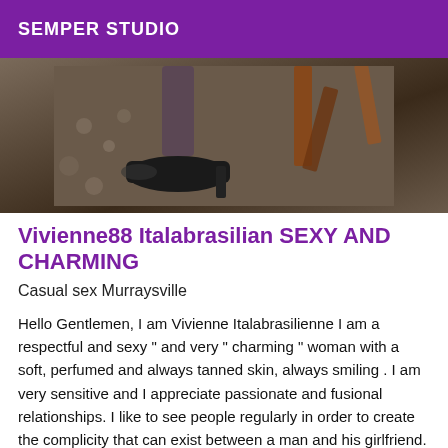SEMPER STUDIO
[Figure (photo): Close-up photo of high-heeled black shoes on a textured floor with wooden furniture visible]
Vivienne88 Italabrasilian SEXY AND CHARMING
Casual sex Murraysville
Hello Gentlemen, I am Vivienne Italabrasilienne I am a respectful and sexy " and very " charming " woman with a soft, perfumed and always tanned skin, always smiling . I am very sensitive and I appreciate passionate and fusional relationships. I like to see people regularly in order to create the complicity that can exist between a man and his girlfriend. Each appointment is important and I need a minimum of time to prepare myself, exclusively for you, to receive you in a perfect way and to meet your expectations by providing you a settled...